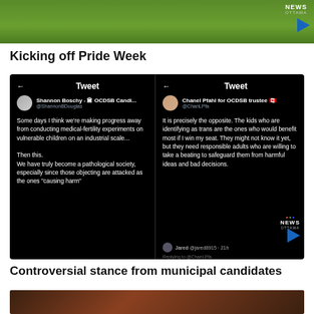[Figure (screenshot): Top video thumbnail showing green grass with CTV News Ottawa logo and play button]
Kicking off Pride Week
[Figure (screenshot): Two Twitter/tweet screenshots side by side on black background. Left tweet by Shannon Boschy - OCDSB Candi... @ShannonBDouglas about medical-fertility experiments. Right tweet by Chanel Pfahl for OCDSB trustee @ChanLPfa about trans kids and responsible adults. CTV News Ottawa logo visible on right tweet. Jared @jared8915 21h Replying to @ChanLPfa shown at bottom.]
Controversial stance from municipal candidates
[Figure (screenshot): Bottom video thumbnail showing dark building scene]